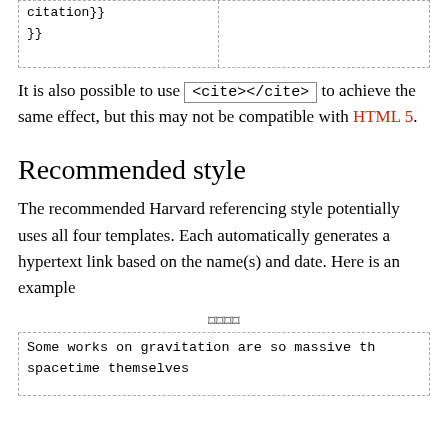| citation}} |  |
| }} |  |
It is also possible to use <cite></cite> to achieve the same effect, but this may not be compatible with HTML 5.
Recommended style
The recommended Harvard referencing style potentially uses all four templates. Each automatically generates a hypertext link based on the name(s) and date. Here is an example
⌑⌑⌑⌑
| Some works on gravitation are so massive th spacetime themselves |